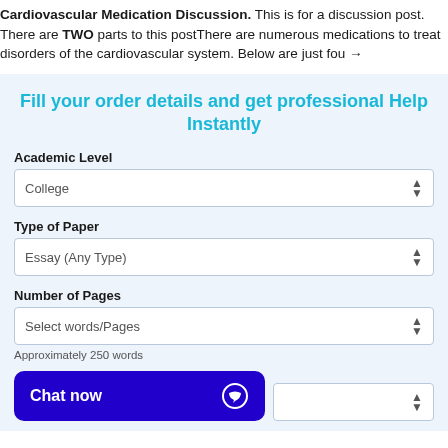Cardiovascular Medication Discussion. This is for a discussion post. There are TWO parts to this postThere are numerous medications to treat disorders of the cardiovascular system. Below are just fou →
Fill your order details and get professional Help Instantly
Academic Level
College
Type of Paper
Essay (Any Type)
Number of Pages
Select words/Pages
Approximately 250 words
Chat now